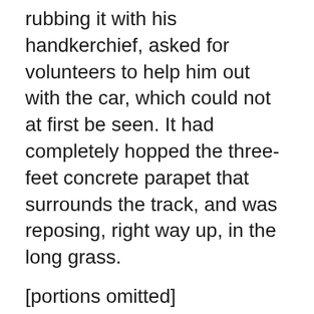rubbing it with his handkerchief, asked for volunteers to help him out with the car, which could not at first be seen. It had completely hopped the three-feet concrete parapet that surrounds the track, and was reposing, right way up, in the long grass.
[portions omitted]
After the sprint records he had put up, Harry's intention was to go for sustained and still greater speeds with the object of attacking world's records irrespective of size before the end of the year, but he was only destined to live three more weeks, leaving the car, his loved car on which he had spent so much of his interest and time during the last six months,